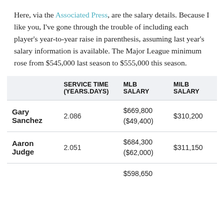Here, via the Associated Press, are the salary details. Because I like you, I've gone through the trouble of including each player's year-to-year raise in parenthesis, assuming last year's salary information is available. The Major League minimum rose from $545,000 last season to $555,000 this season.
|  | SERVICE TIME (YEARS.DAYS) | MLB SALARY | MILB SALARY |
| --- | --- | --- | --- |
| Gary Sanchez | 2.086 | $669,800
($49,400) | $310,200 |
| Aaron Judge | 2.051 | $684,300
($62,000) | $311,150 |
|  |  | $598,650 |  |